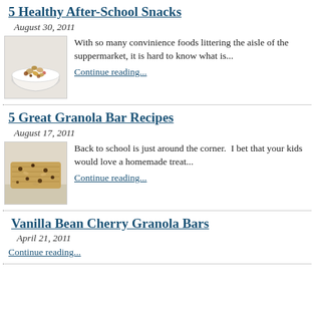5 Healthy After-School Snacks
August 30, 2011
[Figure (photo): Bowl of mixed nuts and dried fruit snack mix]
With so many convinience foods littering the aisle of the suppermarket, it is hard to know what is...
Continue reading...
5 Great Granola Bar Recipes
August 17, 2011
[Figure (photo): Close-up of a granola bar with chocolate chips]
Back to school is just around the corner.  I bet that your kids would love a homemade treat...
Continue reading...
Vanilla Bean Cherry Granola Bars
April 21, 2011
Continue reading...